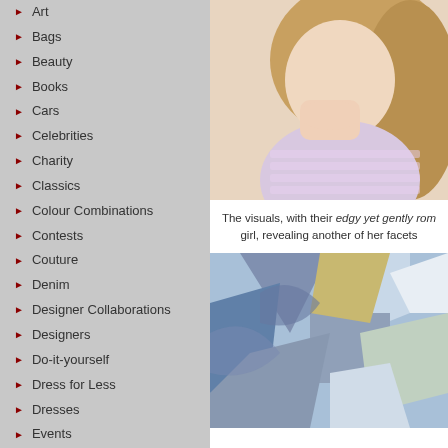Art
Bags
Beauty
Books
Cars
Celebrities
Charity
Classics
Colour Combinations
Contests
Couture
Denim
Designer Collaborations
Designers
Do-it-yourself
Dress for Less
Dresses
Events
Exhibitions
Fall/Winter 2010
Fall/Winter 2011
Fall/Winter 2012
Fall/Winter 2013
[Figure (photo): Close-up photo of a young woman with blonde hair, wearing a light pink/lavender ribbed sweater, with tattoos on her fingers, resting her chin on her hands thoughtfully.]
The visuals, with their edgy yet gently rom girl, revealing another of her facets
[Figure (photo): Photo showing a person wearing a blue denim jacket with abstract patchwork or print design in blue, white, and yellow/olive tones.]